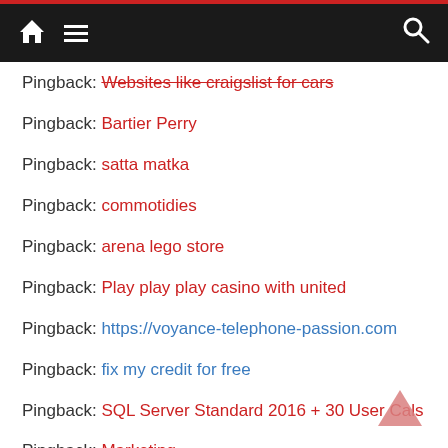Navigation bar with home, menu, and search icons
Pingback: Websites like craigslist for cars
Pingback: Bartier Perry
Pingback: satta matka
Pingback: commotidies
Pingback: arena lego store
Pingback: Play play play casino with united
Pingback: https://voyance-telephone-passion.com
Pingback: fix my credit for free
Pingback: SQL Server Standard 2016 + 30 User Cals
Pingback: Marketing